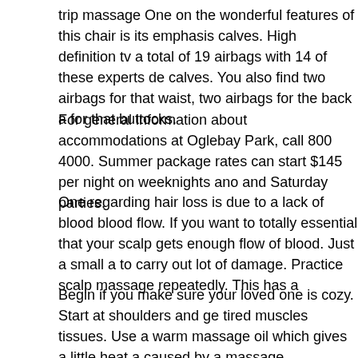trip massage One on the wonderful features of this chair is its emphasis calves. High definition tv a total of 19 airbags with 14 of these experts de calves. You also find two airbags for that waist, two airbags for the back a for that buttocks.
For general information about accommodations at Oglebay Park, call 800 4000. Summer package rates can start $145 per night on weeknights ano and Saturday parties.
One regarding hair loss is due to a lack of blood blood flow. If you want to totally essential that your scalp gets enough flow of blood. Just a small a to carry out lot of damage. Practice scalp massage repeatedly. This has a
Begin if you make sure your loved one is cozy. Start at shoulders and ge tired muscles tissues. Use a warm massage oil which gives a little heat a caused by a massage.
I am a yoga instructor and Massage Therapist in Redding, CA when i tea and self meditation member my clients all time. In fact, this “Hearticle” is a rookies article because the first element of learning beginning yoga has b your how your body is connected for a thoughts. This deeper synergistic individuals are searching for in wanting stress relief in yoga poses. The a practice end up being to give each client a mini yoga class regarding how